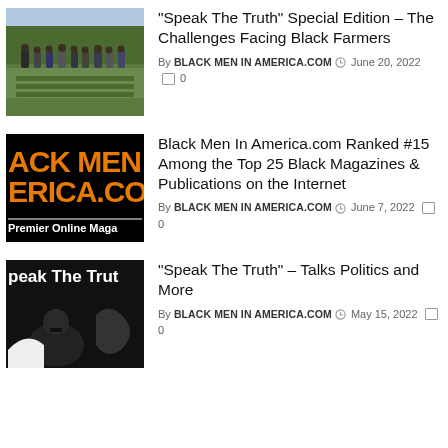[Figure (photo): Group of Black farmers standing in a farm field with green crops, trees in background]
“Speak The Truth” Special Edition – The Challenges Facing Black Farmers
By BLACK MEN IN AMERICA.COM  June 20, 2022  0
[Figure (logo): Black Men In America.com logo with orange text on black background, 'Premier Online Maga' visible]
Black Men In America.com Ranked #15 Among the Top 25 Black Magazines & Publications on the Internet
By BLACK MEN IN AMERICA.COM  June 7, 2022  0
[Figure (photo): Speak The Truth show thumbnail with man in foreground on black background]
“Speak The Truth” – Talks Politics and More
By BLACK MEN IN AMERICA.COM  May 15, 2022  0